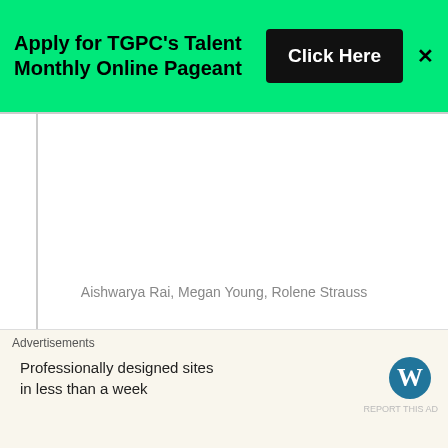[Figure (other): Green advertisement banner: 'Apply for TGPC's Talent Monthly Online Pageant' with a black 'Click Here' button and an X close button]
Aishwarya Rai, Megan Young, Rolene Strauss
7) Finale Performance: Finale performance is something that determines whether the win of the girl would be accepted by public or not. All 3 girls' win was
[Figure (other): Bottom advertisement: 'Professionally designed sites in less than a week' with WordPress logo on a cream background]